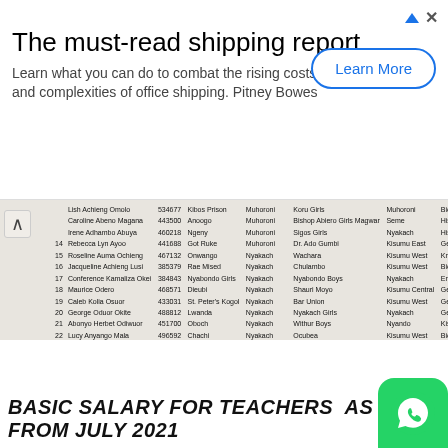[Figure (screenshot): Advertisement banner for 'The must-read shipping report' by Pitney Bowes with a 'Learn More' button]
[Figure (photo): Scanned document showing a table of teachers with columns for number, name, ID, posting, sub-county, school, district/county, and subject. Rows 12-28 visible.]
BASIC SALARY FOR TEACHERS AS FROM JULY 2021